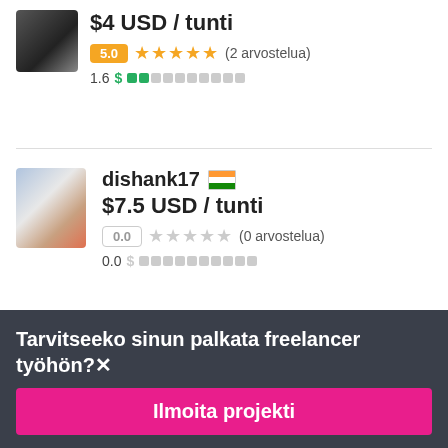$4 USD / tunti
5.0 ★★★★★ (2 arvostelua)
1.6 $ ██░░░░░░░░
dishank17 🇮🇳
$7.5 USD / tunti
0.0 ★★★★★ (0 arvostelua)
0.0 $ ░░░░░░░░░░
Tarvitseeko sinun palkata freelancer työhön?
Ilmoita projekti